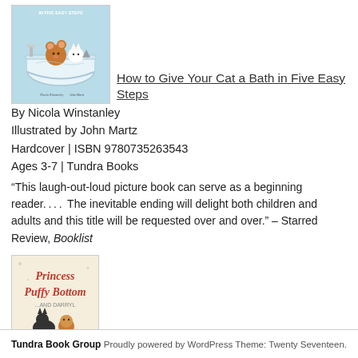[Figure (illustration): Book cover for 'How to Give Your Cat a Bath in Five Easy Steps' showing cartoon mouse and cat in a bathtub, authors Nicola Winstanley and John Martz]
How to Give Your Cat a Bath in Five Easy Steps
By Nicola Winstanley
Illustrated by John Martz
Hardcover | ISBN 9780735263543
Ages 3-7 | Tundra Books
“This laugh-out-loud picture book can serve as a beginning reader. . . . The inevitable ending will delight both children and adults and this title will be requested over and over.” – Starred Review, Booklist
[Figure (illustration): Book cover for 'Princess Puffybottom ... and Darryl' showing illustrated characters on a cream background]
Tundra Book Group    Proudly powered by WordPress Theme: Twenty Seventeen.